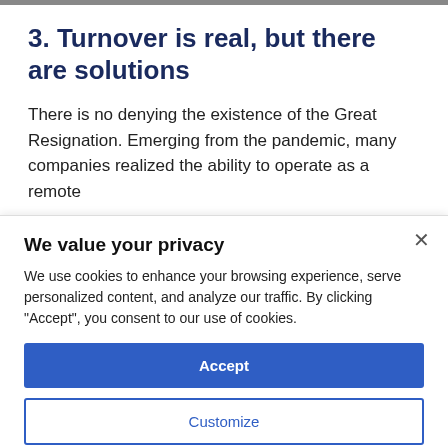3. Turnover is real, but there are solutions
There is no denying the existence of the Great Resignation. Emerging from the pandemic, many companies realized the ability to operate as a remote
We value your privacy
We use cookies to enhance your browsing experience, serve personalized content, and analyze our traffic. By clicking "Accept", you consent to our use of cookies.
Accept
Customize